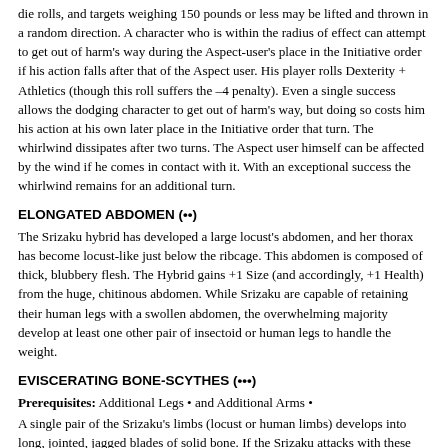die rolls, and targets weighing 150 pounds or less may be lifted and thrown in a random direction. A character who is within the radius of effect can attempt to get out of harm's way during the Aspect-user's place in the Initiative order if his action falls after that of the Aspect user. His player rolls Dexterity + Athletics (though this roll suffers the –4 penalty). Even a single success allows the dodging character to get out of harm's way, but doing so costs him his action at his own later place in the Initiative order that turn. The whirlwind dissipates after two turns. The Aspect user himself can be affected by the wind if he comes in contact with it. With an exceptional success the whirlwind remains for an additional turn.
ELONGATED ABDOMEN (••)
The Srizaku hybrid has developed a large locust's abdomen, and her thorax has become locust-like just below the ribcage. This abdomen is composed of thick, blubbery flesh. The Hybrid gains +1 Size (and accordingly, +1 Health) from the huge, chitinous abdomen. While Srizaku are capable of retaining their human legs with a swollen abdomen, the overwhelming majority develop at least one other pair of insectoid or human legs to handle the weight.
EVISCERATING BONE-SCYTHES (•••)
Prerequisites: Additional Legs • and Additional Arms •
A single pair of the Srizaku's limbs (locust or human limbs) develops into long, jointed, jagged blades of solid bone. If the Srizaku attacks with these heavy bone-scythes, it gains two bonus dice and the damage is lethal. If the Srizaku spends one Essence point, the damage inflicted becomes aggravated, as the toothed edges of the limbs resemble nothing so much as a supernatural saw- blade. The Srizaku must have the Additional Leg and Additional Arms Aspects to maintain balance with the bone-scythes. This Aspect can be taken a maximum